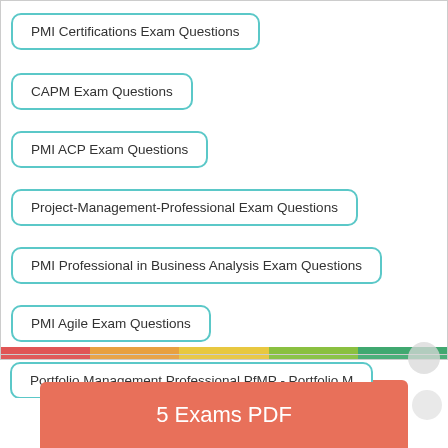PMI Certifications Exam Questions
CAPM Exam Questions
PMI ACP Exam Questions
Project-Management-Professional Exam Questions
PMI Professional in Business Analysis Exam Questions
PMI Agile Exam Questions
Portfolio Management Professional PfMP - Portfolio M
5 Exams PDF